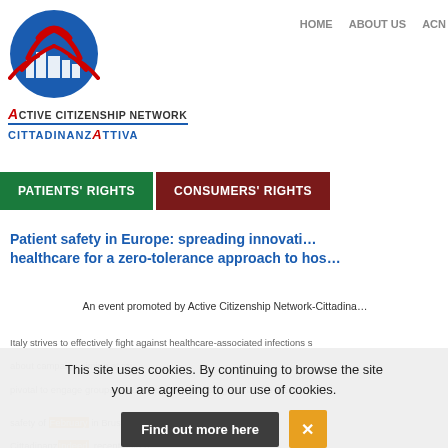[Figure (logo): Active Citizenship Network / Cittadinanzattiva logo with blue circle and red figure]
HOME   ABOUT US   ACN
PATIENTS' RIGHTS
CONSUMERS' RIGHTS
Patient safety in Europe: spreading innovative healthcare for a zero-tolerance approach to hospital infections
An event promoted by Active Citizenship Network-Cittadinanza
This site uses cookies. By continuing to browse the site you are agreeing to our use of cookies.
Find out more here